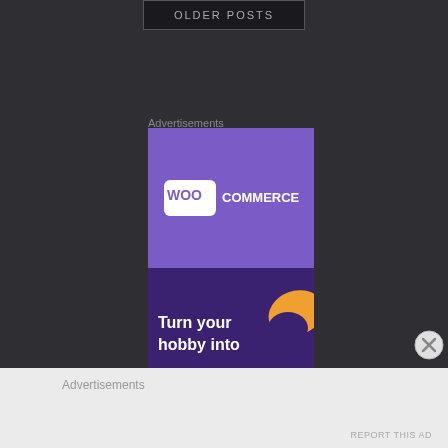OLDER POSTS
Advertisements
[Figure (illustration): WooCommerce advertisement showing logo on purple background with orange accent and text 'Turn your hobby into']
[Figure (other): Close/dismiss button (X circle icon)]
Advertisements
REPORT THIS AD